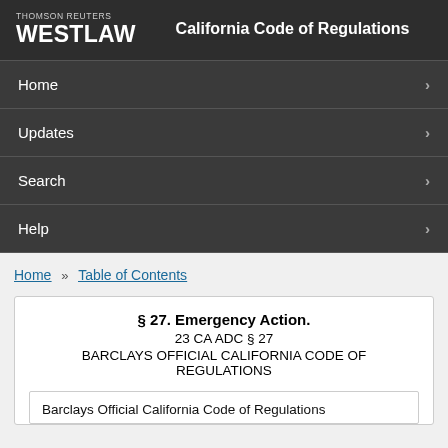THOMSON REUTERS WESTLAW — California Code of Regulations
Home
Updates
Search
Help
Home » Table of Contents
§ 27. Emergency Action.
23 CA ADC § 27
BARCLAYS OFFICIAL CALIFORNIA CODE OF REGULATIONS
Barclays Official California Code of Regulations